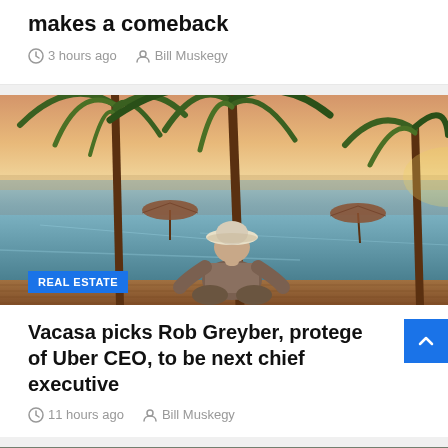makes a comeback
3 hours ago   Bill Muskegy
[Figure (photo): Person sitting by an infinity pool with palm trees and beach umbrellas at sunset, viewed from behind wearing a white hat]
REAL ESTATE
Vacasa picks Rob Greyber, protege of Uber CEO, to be next chief executive
11 hours ago   Bill Muskegy
[Figure (photo): Partial image of a coastal/aerial scene at the bottom of the page]